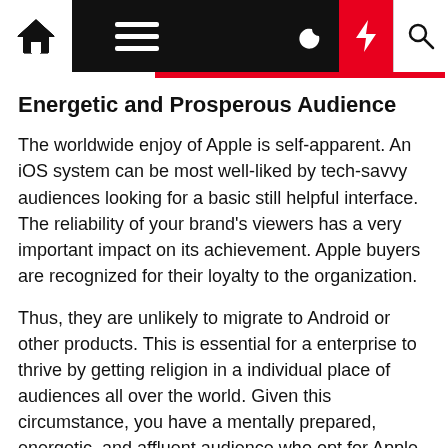[Navigation bar with home, menu, moon, lightning, search icons]
Energetic and Prosperous Audience
The worldwide enjoy of Apple is self-apparent. An iOS system can be most well-liked by tech-savvy audiences looking for a basic still helpful interface. The reliability of your brand's viewers has a very important impact on its achievement. Apple buyers are recognized for their loyalty to the organization.
Thus, they are unlikely to migrate to Android or other products. This is essential for a enterprise to thrive by getting religion in a individual place of audiences all over the world. Given this circumstance, you have a mentally prepared, energetic, and affluent audience who opt for Apple equipment above something else.
Speedy Growth Procedure